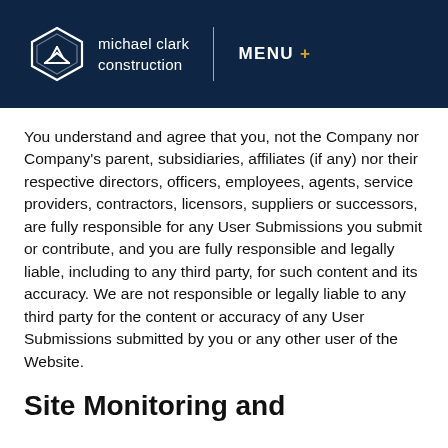[Figure (logo): Michael Clark Construction logo — hexagon icon with building/construction graphic, white outline on dark navy background, with company name in white text]
You understand and agree that you, not the Company nor Company's parent, subsidiaries, affiliates (if any) nor their respective directors, officers, employees, agents, service providers, contractors, licensors, suppliers or successors, are fully responsible for any User Submissions you submit or contribute, and you are fully responsible and legally liable, including to any third party, for such content and its accuracy. We are not responsible or legally liable to any third party for the content or accuracy of any User Submissions submitted by you or any other user of the Website.
Site Monitoring and